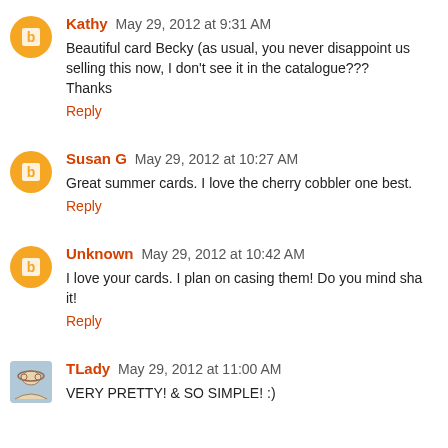Kathy May 29, 2012 at 9:31 AM
Beautiful card Becky (as usual, you never disappoint us selling this now, I don't see it in the catalogue??? Thanks
Reply
Susan G May 29, 2012 at 10:27 AM
Great summer cards. I love the cherry cobbler one best.
Reply
Unknown May 29, 2012 at 10:42 AM
I love your cards. I plan on casing them! Do you mind sha it!
Reply
TLady May 29, 2012 at 11:00 AM
VERY PRETTY! & SO SIMPLE! :)